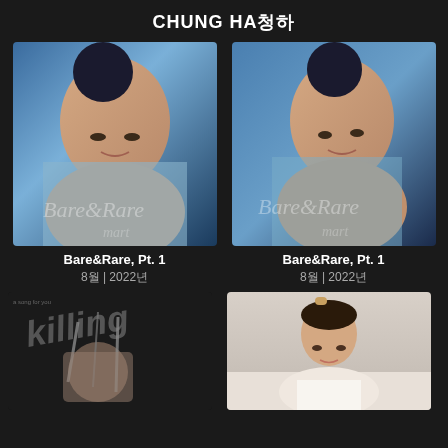CHUNG HA청하
[Figure (photo): Album cover photo of Chung Ha for Bare&Rare Pt. 1 - close-up portrait with blue tones]
Bare&Rare, Pt. 1
8월 | 2022년
[Figure (photo): Album cover photo of Chung Ha for Bare&Rare Pt. 1 - alternate version close-up portrait with blue tones]
Bare&Rare, Pt. 1
8월 | 2022년
[Figure (photo): Dark album/single cover with text 'killing' and a hand reaching forward]
[Figure (photo): Photo of Chung Ha with straight hair wearing white outfit]